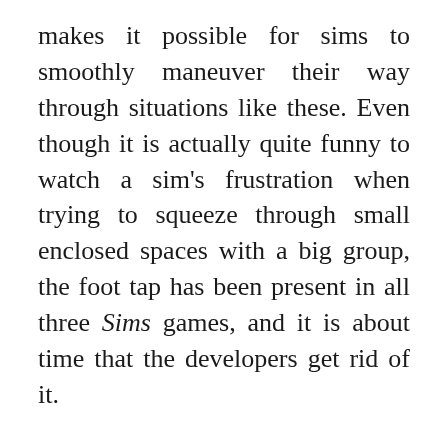makes it possible for sims to smoothly maneuver their way through situations like these. Even though it is actually quite funny to watch a sim's frustration when trying to squeeze through small enclosed spaces with a big group, the foot tap has been present in all three Sims games, and it is about time that the developers get rid of it.
To close off, it is always nerve-wracking to anticipate the sequel of one's favorite game franchise. When a gamer really enjoys the previous installment, they will most definitely have unrealistically high hopes for the upcoming one, though a lot of times they have to prepare themselves for disappointment. I